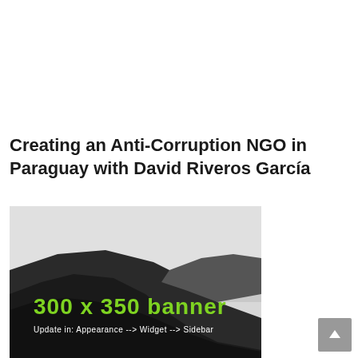Creating an Anti-Corruption NGO in Paraguay with David Riveros García
[Figure (other): Banner advertisement placeholder image showing a black and white mountain/hillside landscape with green text overlay reading '300 x 350 banner' and smaller text 'Update in: Appearance --> Widget --> Sidebar']